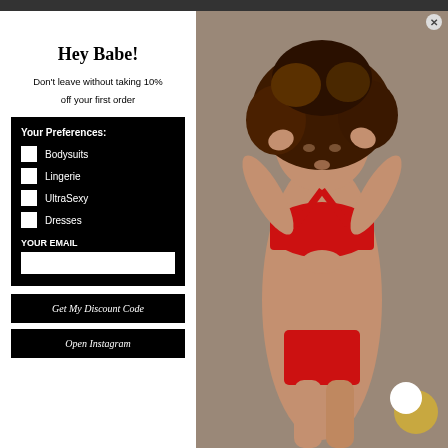Hey Babe!
Don't leave without taking 10% off your first order
Your Preferences:
Bodysuits
Lingerie
UltraSexy
Dresses
YOUR EMAIL
Get My Discount Code
Open Instagram
[Figure (photo): Woman model in red swimsuit/lingerie with curly hair, arms raised above head]